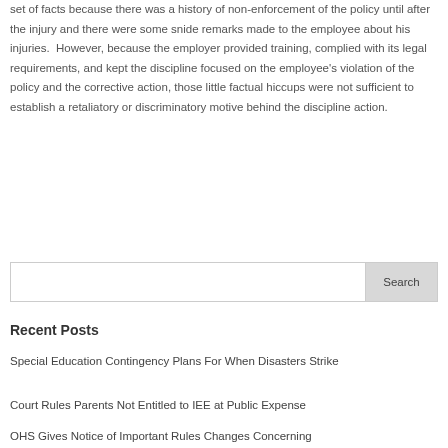set of facts because there was a history of non-enforcement of the policy until after the injury and there were some snide remarks made to the employee about his injuries.  However, because the employer provided training, complied with its legal requirements, and kept the discipline focused on the employee’s violation of the policy and the corrective action, those little factual hiccups were not sufficient to establish a retaliatory or discriminatory motive behind the discipline action.
Recent Posts
Special Education Contingency Plans For When Disasters Strike
Court Rules Parents Not Entitled to IEE at Public Expense
OHS Gives Notice of Important Rules Changes Concerning